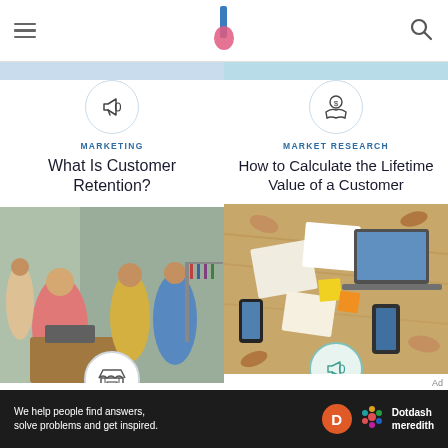The Balance – navigation and logo header
[Figure (screenshot): Left column top card: megaphone icon on light blue background]
MARKETING
What Is Customer Retention?
[Figure (photo): Left column: retail clothing store with customers at checkout, clothes on racks]
[Figure (illustration): Store/shop icon overlaid on retail photo]
CUSTOMER SERVICE
[Figure (illustration): Right column top card: hand holding money/coin icon on light blue background]
MARKET RESEARCH
How to Calculate the Lifetime Value of a Customer
[Figure (photo): Right column: top-down view of people at a meeting table with laptops, phones, papers]
[Figure (illustration): Megaphone icon overlaid on meeting photo]
BRAND MARKETING
Why Branding Is
Ad
We help people find answers, solve problems and get inspired. Dotdash meredith